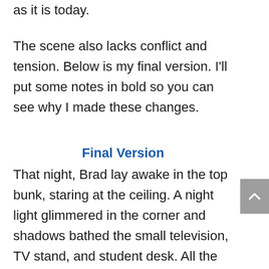as it is today.
The scene also lacks conflict and tension. Below is my final version. I'll put some notes in bold so you can see why I made these changes.
Final Version
That night, Brad lay awake in the top bunk, staring at the ceiling. A night light glimmered in the corner and shadows bathed the small television, TV stand, and student desk. All the discussion